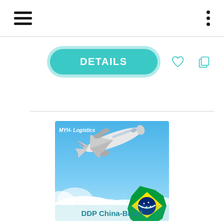[Figure (screenshot): Mobile app UI top navigation bar with hamburger menu icon on left and three-dot vertical menu on right]
[Figure (other): DETAILS button (teal/turquoise pill-shaped button with white bold text), heart icon outline, and copy/clipboard icon in teal]
[Figure (photo): MYH-Logistics promotional image showing a white cargo airplane flying over clouds with a Brazilian flag map cutout in the bottom right corner and text 'DDP China-Brazil' at the bottom]